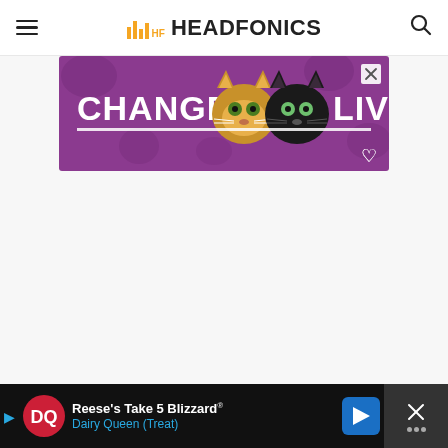Headfonics
[Figure (screenshot): Advertisement banner: purple background with cat faces, text 'CHANGE LIVES' with cat face icon, small X close button top-right, heart icon bottom-right]
[Figure (screenshot): Dairy Queen advertisement bar at bottom: Reese's Take 5 Blizzard, Dairy Queen (Treat), DQ logo, blue navigation arrow icon, close X button on right]